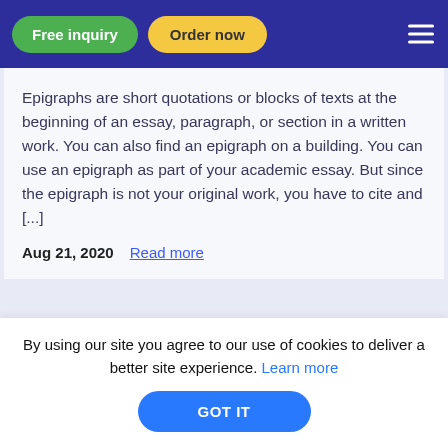Free inquiry | Order now
Epigraphs are short quotations or blocks of texts at the beginning of an essay, paragraph, or section in a written work. You can also find an epigraph on a building. You can use an epigraph as part of your academic essay. But since the epigraph is not your original work, you have to cite and [...]
Aug 21, 2020   Read more
By using our site you agree to our use of cookies to deliver a better site experience. Learn more
GOT IT